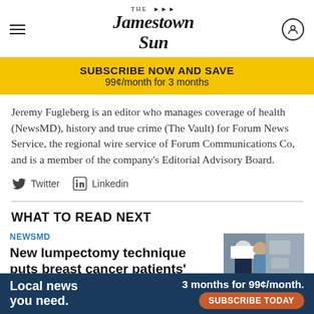The Jamestown Sun
SUBSCRIBE NOW AND SAVE
99¢/month for 3 months
Jeremy Fugleberg is an editor who manages coverage of health (NewsMD), history and true crime (The Vault) for Forum News Service, the regional wire service of Forum Communications Co, and is a member of the company's Editorial Advisory Board.
Twitter   Linkedin
WHAT TO READ NEXT
NEWSMD
New lumpectomy technique puts breast cancer patients' comfort at the forefront
September
Local news you need.   3 months for 99¢/month.   SUBSCRIBE TODAY